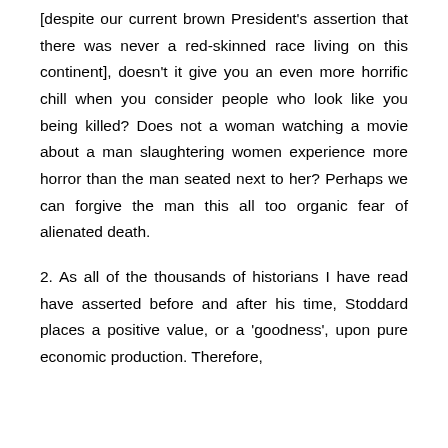[despite our current brown President's assertion that there was never a red-skinned race living on this continent], doesn't it give you an even more horrific chill when you consider people who look like you being killed? Does not a woman watching a movie about a man slaughtering women experience more horror than the man seated next to her? Perhaps we can forgive the man this all too organic fear of alienated death.
2. As all of the thousands of historians I have read have asserted before and after his time, Stoddard places a positive value, or a 'goodness', upon pure economic production. Therefore,